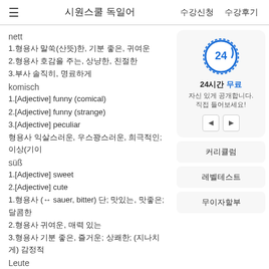시원스쿨 독일어  수강신청  수강후기
nett
1.형용사 말쑥(산뜻)한, 기분 좋은, 귀여운
2.형용사 호감을 주는, 상냥한, 친절한
3.부사 솔직히, 명료하게
komisch
1.[Adjective] funny (comical)
2.[Adjective] funny (strange)
3.[Adjective] peculiar
형용사 익살스러운, 우스꽝스러운, 희극적인; 이상{기이
süß
1.[Adjective] sweet
2.[Adjective] cute
1.형용사 (↔ sauer, bitter) 단; 맛있는, 맛좋은; 달콤한
2.형용사 귀여운, 매력 있는
3.형용사 기분 좋은, 즐거운; 상쾌한; (지나치게) 감정적
Leute
[Figure (infographic): 24시간 무료 프로모션 원형 아이콘, 자신 있게 공개합니다. 직접 들어보세요!]
커리큘럼
레벨테스트
무이자할부